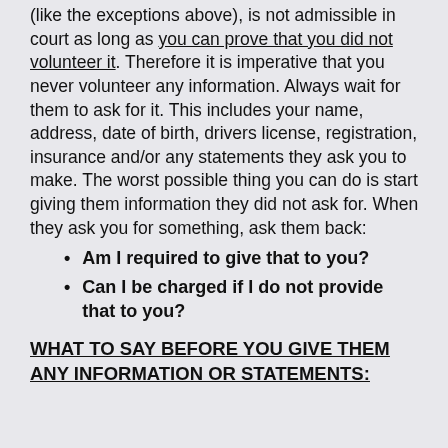(like the exceptions above), is not admissible in court as long as you can prove that you did not volunteer it. Therefore it is imperative that you never volunteer any information. Always wait for them to ask for it. This includes your name, address, date of birth, drivers license, registration, insurance and/or any statements they ask you to make. The worst possible thing you can do is start giving them information they did not ask for. When they ask you for something, ask them back:
Am I required to give that to you?
Can I be charged if I do not provide that to you?
WHAT TO SAY BEFORE YOU GIVE THEM ANY INFORMATION OR STATEMENTS: